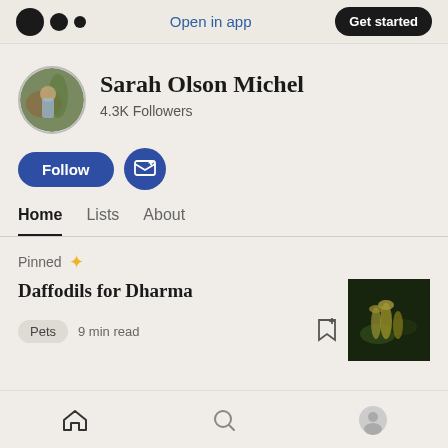Open in app | Get started
Sarah Olson Michel
4.3K Followers
Follow | Subscribe
Home  Lists  About
Pinned
Daffodils for Dharma
Pets  9 min read
Home  Search  Profile